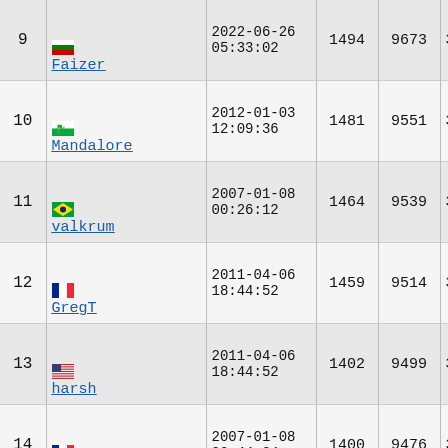| # | Name | Date | Val1 | Val2 | Time |
| --- | --- | --- | --- | --- | --- |
| 9 | Faizer | 2022-06-26 05:33:02 | 1494 | 9673 | 38'21"2 |
| 10 | Mandalore | 2012-01-03 12:09:36 | 1481 | 9551 | 37'38"9 |
| 11 | valkrum | 2007-01-08 00:26:12 | 1464 | 9539 | 37'58"6 |
| 12 | GregT | 2011-04-06 18:44:52 | 1459 | 9514 | 37'46"2 |
| 13 | harsh | 2011-04-06 18:44:52 | 1402 | 9499 | 37'58"7 |
| 14 | Antoine B | 2007-01-08 02:44:34 | 1400 | 9476 | 37'59"2 |
| 15 | SpeedMcJonJon | 2013-02-26 15:39:47 | 1285 | 9428 | 38'07"9 |
| 16 | JuggerKnopp | 2011-07-11 08:49:40 | 1272 | 9418 | 38'06"4 |
| 17 | Frederick Johnson | 2007-01-08 | 1256 | 9300 | 38'24"3 |